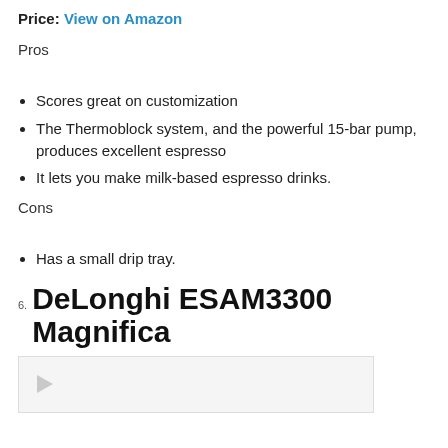Price: View on Amazon
Pros
Scores great on customization
The Thermoblock system, and the powerful 15-bar pump, produces excellent espresso
It lets you make milk-based espresso drinks.
Cons
Has a small drip tray.
6. DeLonghi ESAM3300 Magnifica
[Figure (photo): Placeholder image with play icon for DeLonghi ESAM3300 Magnifica]